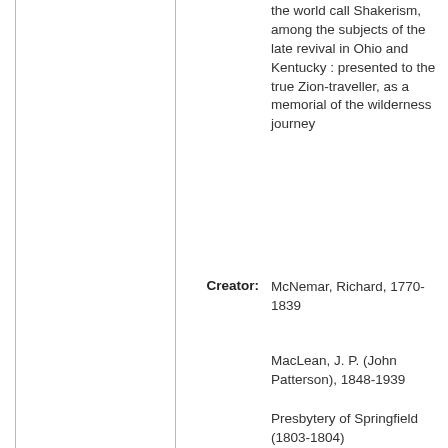the world call Shakerism, among the subjects of the late revival in Ohio and Kentucky : presented to the true Zion-traveller, as a memorial of the wilderness journey
Creator: McNemar, Richard, 1770-1839
MacLean, J. P. (John Patterson), 1848-1939
Presbytery of Springfield (1803-1804)
Shaker Collection (Library of Congress)
Publication: Re-printed by Phinehas Allen, Pittsfield,1808.
Notes: "Observations on church